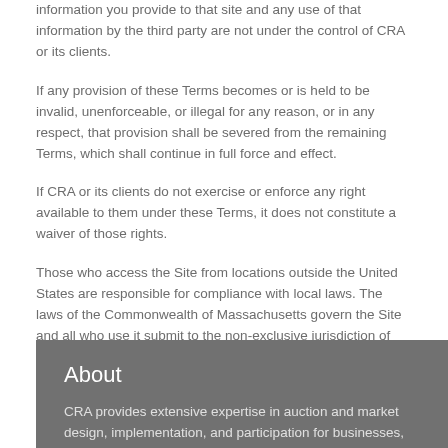information you provide to that site and any use of that information by the third party are not under the control of CRA or its clients.
If any provision of these Terms becomes or is held to be invalid, unenforceable, or illegal for any reason, or in any respect, that provision shall be severed from the remaining Terms, which shall continue in full force and effect.
If CRA or its clients do not exercise or enforce any right available to them under these Terms, it does not constitute a waiver of those rights.
Those who access the Site from locations outside the United States are responsible for compliance with local laws. The laws of the Commonwealth of Massachusetts govern the Site and all who use it submit to the non-exclusive jurisdiction of the Courts of the Commonwealth of Massachusetts.
About
CRA provides extensive expertise in auction and market design, implementation, and participation for businesses, governments,